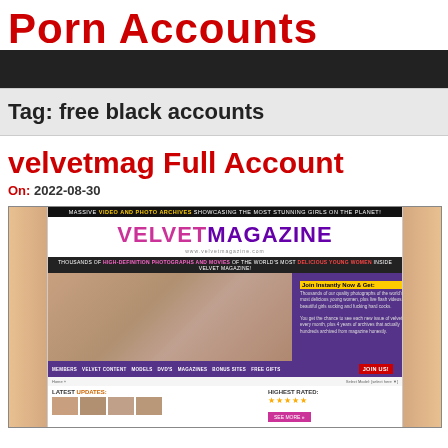Porn Accounts
Tag: free black accounts
velvetmag Full Account
On: 2022-08-30
[Figure (screenshot): Screenshot of velvetmag (Velvet Magazine) website homepage showing logo, navigation bar with Members, Velvet Content, Models, DVD's, Magazines, Bonus Sites, Free Gifts, Join Us buttons, main content area with explicit imagery, Join Instantly Now & Get section, Latest Updates section, and Highest Rated section.]